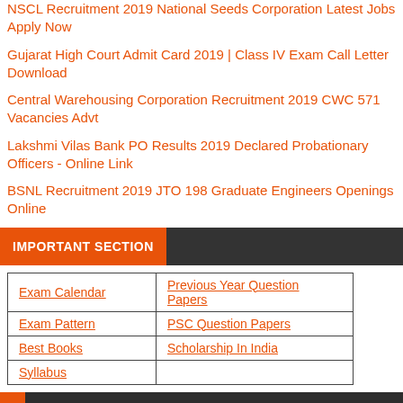NSCL Recruitment 2019 National Seeds Corporation Latest Jobs Apply Now
Gujarat High Court Admit Card 2019 | Class IV Exam Call Letter Download
Central Warehousing Corporation Recruitment 2019 CWC 571 Vacancies Advt
Lakshmi Vilas Bank PO Results 2019 Declared Probationary Officers - Online Link
BSNL Recruitment 2019 JTO 198 Graduate Engineers Openings Online
IMPORTANT SECTION
| Exam Calendar | Previous Year Question Papers |
| Exam Pattern | PSC Question Papers |
| Best Books | Scholarship In India |
| Syllabus |  |
MAH MCA CET 2019-20 Application Form, Maharashtra MCA Entrance Test Date